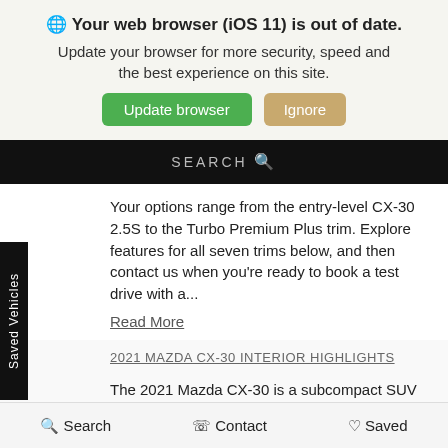🌐 Your web browser (iOS 11) is out of date.
Update your browser for more security, speed and the best experience on this site.
Update browser   Ignore
SEARCH 🔍
Your options range from the entry-level CX-30 2.5S to the Turbo Premium Plus trim. Explore features for all seven trims below, and then contact us when you're ready to book a test drive with a...
Read More
2021 MAZDA CX-30 INTERIOR HIGHLIGHTS
The 2021 Mazda CX-30 is a subcompact SUV with everything that discerning North Wales drivers are looking for: efficiency, comfort, and safety at a great price. Wondering if the CX-30 could be the right pick for you and your family or to upgrade your Lansdale commute? Explore the Mazda CX-30 interior features and dimensions with North Penn Mazda...
Search   Contact   Saved